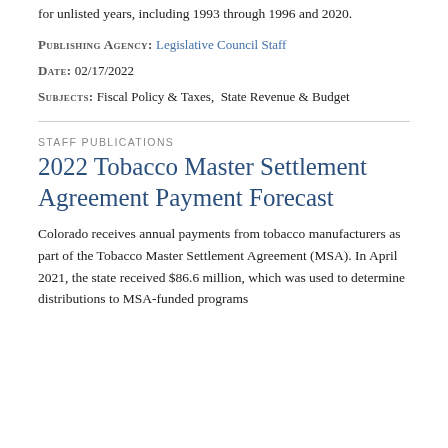for unlisted years, including 1993 through 1996 and 2020.
PUBLISHING AGENCY: Legislative Council Staff
DATE: 02/17/2022
SUBJECTS: Fiscal Policy & Taxes,  State Revenue & Budget
STAFF PUBLICATIONS
2022 Tobacco Master Settlement Agreement Payment Forecast
Colorado receives annual payments from tobacco manufacturers as part of the Tobacco Master Settlement Agreement (MSA). In April 2021, the state received $86.6 million, which was used to determine distributions to MSA-funded programs